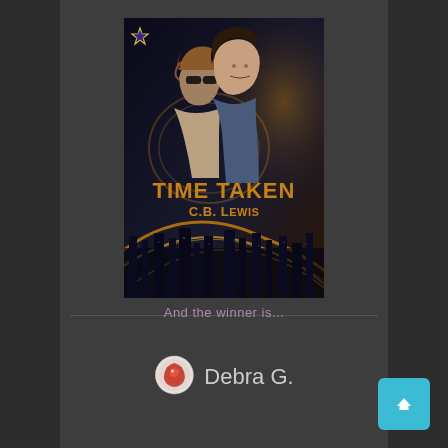[Figure (illustration): Book cover for 'Time Taken' by C.B. Lewis. Dark background with two men — one with curly hair and sunglasses facing away, one dark-haired young man facing forward. Gold swirling light trails and city skyline at bottom. Title 'TIME TAKEN' in large gold text, author 'C.B. Lewis' below in smaller gold text. Publisher star logo in top-left corner.]
And the winner is...
[Figure (logo): Red circular dragon logo/avatar]
Debra G.